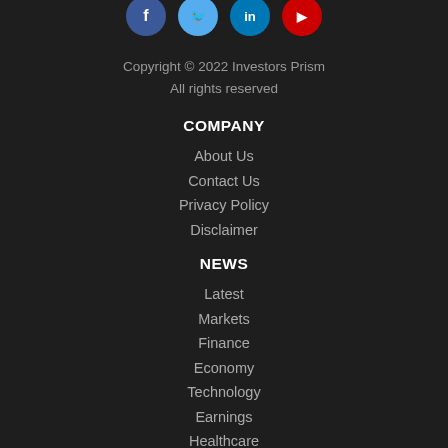[Figure (illustration): Four social media icon circles: Facebook (blue with f), Twitter (light blue with bird), LinkedIn (blue), YouTube (red)]
Copyright © 2022 Investors Prism
All rights reserved
COMPANY
About Us
Contact Us
Privacy Policy
Disclaimer
NEWS
Latest
Markets
Finance
Economy
Technology
Earnings
Healthcare